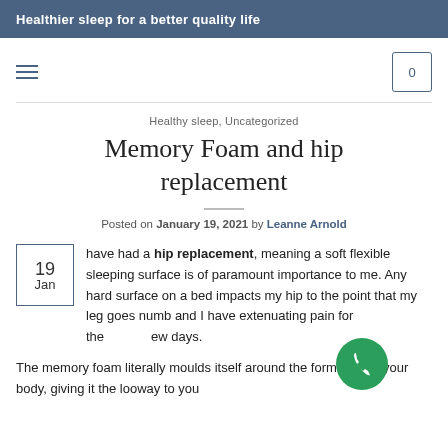Healthier sleep for a better quality life
Healthy sleep, Uncategorized
Memory Foam and hip replacement
Posted on January 19, 2021 by Leanne Arnold
19 Jan — have had a hip replacement, meaning a soft flexible sleeping surface is of paramount importance to me. Any hard surface on a bed impacts my hip to the point that my leg goes numb and I have extenuating pain for the few days.
The memory foam literally moulds itself around the formation of your body, giving it the looway to you